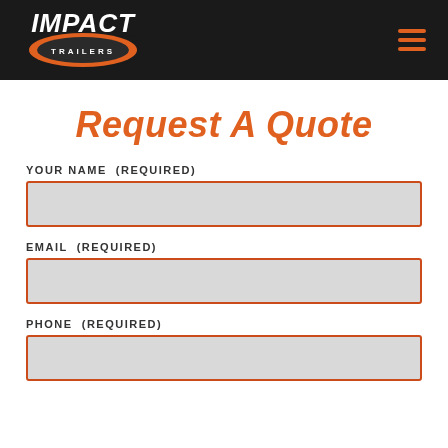Impact Trailers — navigation header with logo and hamburger menu
Request A Quote
YOUR NAME  (REQUIRED)
EMAIL  (REQUIRED)
PHONE  (REQUIRED)